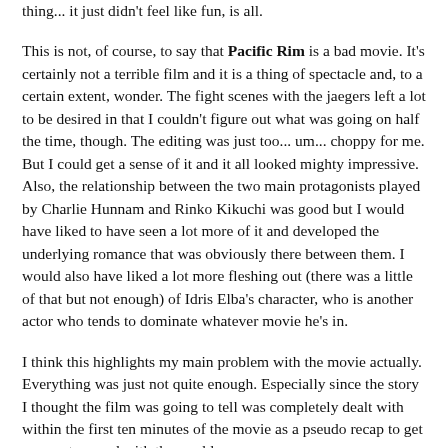thing... it just didn't feel like fun, is all.
This is not, of course, to say that Pacific Rim is a bad movie. It's certainly not a terrible film and it is a thing of spectacle and, to a certain extent, wonder. The fight scenes with the jaegers left a lot to be desired in that I couldn't figure out what was going on half the time, though. The editing was just too... um... choppy for me. But I could get a sense of it and it all looked mighty impressive. Also, the relationship between the two main protagonists played by Charlie Hunnam and Rinko Kikuchi was good but I would have liked to have seen a lot more of it and developed the underlying romance that was obviously there between them. I would also have liked a lot more fleshing out (there was a little of that but not enough) of Idris Elba's character, who is another actor who tends to dominate whatever movie he's in.
I think this highlights my main problem with the movie actually. Everything was just not quite enough. Especially since the story I thought the film was going to tell was completely dealt with within the first ten minutes of the movie as a pseudo recap to get you up to speed with the world...